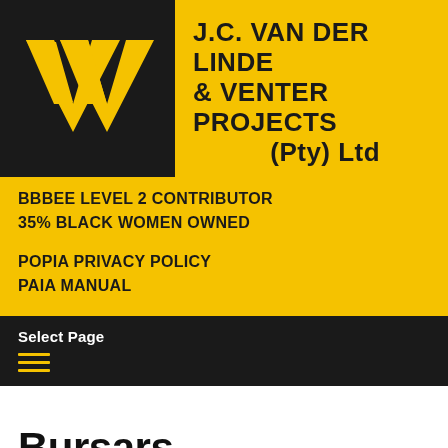[Figure (logo): J.C. Van der Linde & Venter Projects (Pty) Ltd logo with yellow VV on black background]
BBBEE LEVEL 2 CONTRIBUTOR
35% BLACK WOMEN OWNED
POPIA PRIVACY POLICY
PAIA MANUAL
Select Page
Bursars
This site uses cookies. By continuing to browse the site, you are agreeing to our Cookie and Website Privacy Policy.